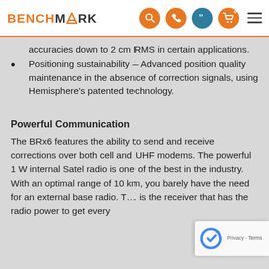BENCHMARK [logo with navigation icons]
accuracies down to 2 cm RMS in certain applications.
Positioning sustainability – Advanced position quality maintenance in the absence of correction signals, using Hemisphere's patented technology.
Powerful Communication
The BRx6 features the ability to send and receive corrections over both cell and UHF modems. The powerful 1 W internal Satel radio is one of the best in the industry. With an optimal range of 10 km, you barely have the need for an external base radio. T… is the receiver that has the radio power to get every